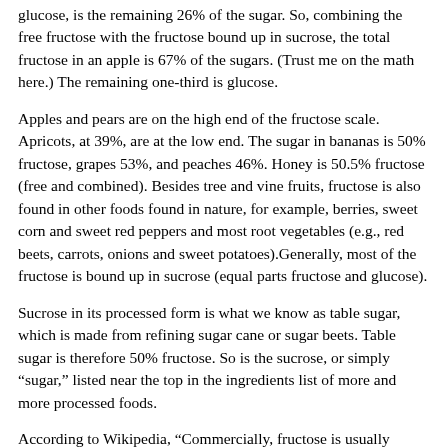glucose, is the remaining 26% of the sugar. So, combining the free fructose with the fructose bound up in sucrose, the total fructose in an apple is 67% of the sugars. (Trust me on the math here.) The remaining one-third is glucose.
Apples and pears are on the high end of the fructose scale. Apricots, at 39%, are at the low end. The sugar in bananas is 50% fructose, grapes 53%, and peaches 46%. Honey is 50.5% fructose (free and combined). Besides tree and vine fruits, fructose is also found in other foods found in nature, for example, berries, sweet corn and sweet red peppers and most root vegetables (e.g., red beets, carrots, onions and sweet potatoes).Generally, most of the fructose is bound up in sucrose (equal parts fructose and glucose).
Sucrose in its processed form is what we know as table sugar, which is made from refining sugar cane or sugar beets. Table sugar is therefore 50% fructose. So is the sucrose, or simply “sugar,” listed near the top in the ingredients list of more and more processed foods.
According to Wikipedia, “Commercially, fructose is usually derived from sugar cane, sugar beets and corn, and there